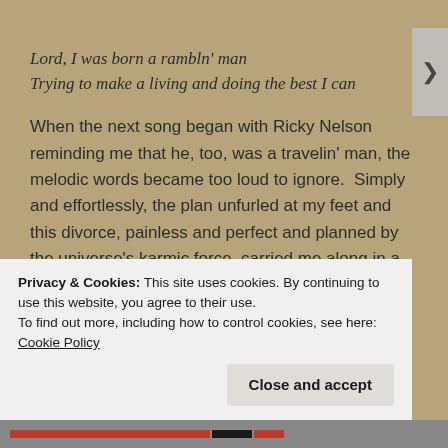Lord, I was born a rambln' man
Trying to make a living and doing the best I can
When the next song began with Ricky Nelson reminding me that he, too, was a travelin' man, the melodic words became too loud to ignore.  Simply and effortlessly, the plan unfurled at my feet and this divorce, painless and perfect and planned by the universe's karmic force, carried me along in a warm, lazy river winding its way towards my future.  Everything is changing, not instantly but decidedly.
Privacy & Cookies: This site uses cookies. By continuing to use this website, you agree to their use.
To find out more, including how to control cookies, see here: Cookie Policy
Close and accept